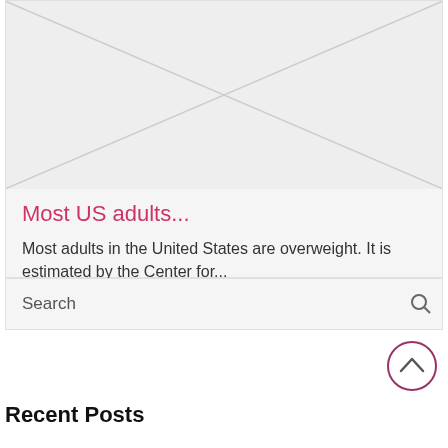[Figure (illustration): Placeholder image with diagonal lines forming an X pattern on light gray background]
Most US adults...
Most adults in the United States are overweight. It is estimated by the Center for...
Search
Recent Posts